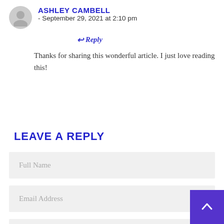ASHLEY CAMBELL - September 29, 2021 at 2:10 pm
Reply
Thanks for sharing this wonderful article. I just love reading this!
LEAVE A REPLY
Full Name
Email Address
Website